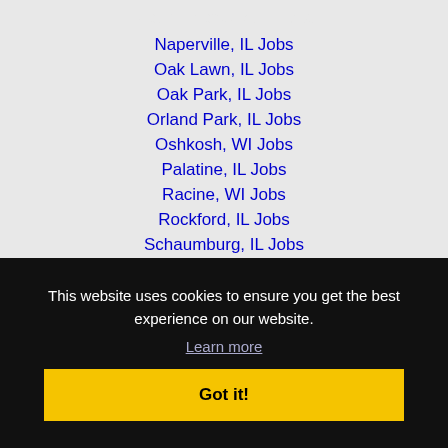Mount Prospect, IL Jobs
Naperville, IL Jobs
Oak Lawn, IL Jobs
Oak Park, IL Jobs
Orland Park, IL Jobs
Oshkosh, WI Jobs
Palatine, IL Jobs
Racine, WI Jobs
Rockford, IL Jobs
Schaumburg, IL Jobs
This website uses cookies to ensure you get the best experience on our website.
Learn more
Got it!